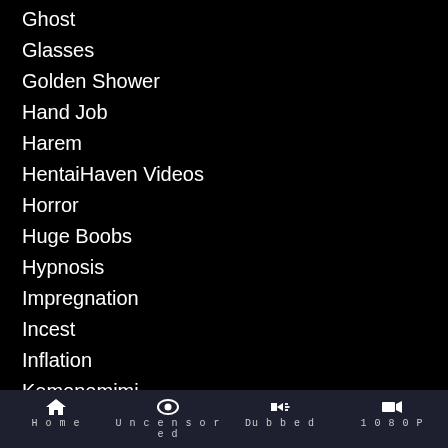Ghost
Glasses
Golden Shower
Hand Job
Harem
HentaiHaven Videos
Horror
Huge Boobs
Hypnosis
Impregnation
Incest
Inflation
Kemonomimi
Lactation
Licking
Loli
Home  Uncensored  Dubbed  1080P